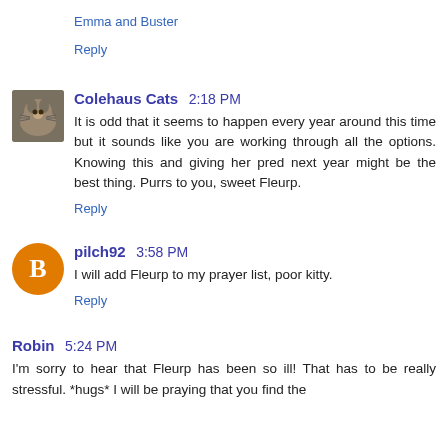Emma and Buster
Reply
Colehaus Cats 2:18 PM
It is odd that it seems to happen every year around this time but it sounds like you are working through all the options. Knowing this and giving her pred next year might be the best thing. Purrs to you, sweet Fleurp.
Reply
pilch92 3:58 PM
I will add Fleurp to my prayer list, poor kitty.
Reply
Robin 5:24 PM
I'm sorry to hear that Fleurp has been so ill! That has to be really stressful. *hugs* I will be praying that you find the